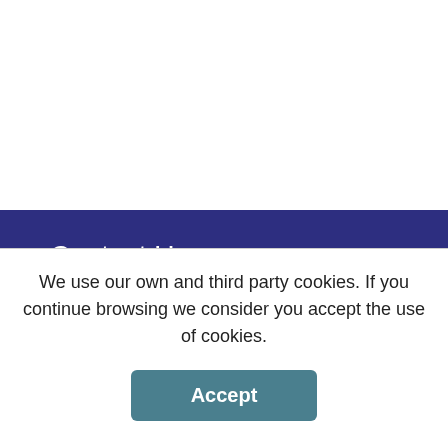Contact Us
Embedded Antenna Design Ltd
Unit 19, Kings Meadow
Ferry Hinksey Road
Oxford
OX2 0DB
We use our own and third party cookies. If you continue browsing we consider you accept the use of cookies.
Accept